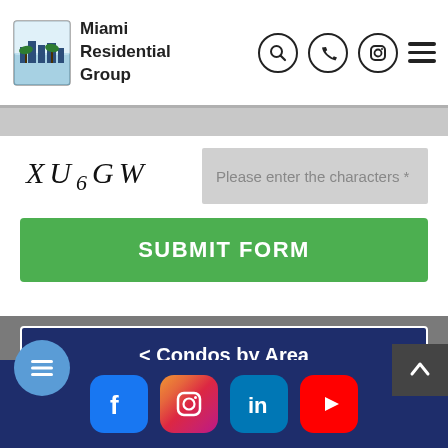Miami Residential Group
[Figure (screenshot): CAPTCHA image showing the text XU6GW in stylized italic font]
Please enter the characters *
SUBMIT FORM
< Condos by Area
< North Bay Village
Social media icons: Facebook, Instagram, LinkedIn, YouTube